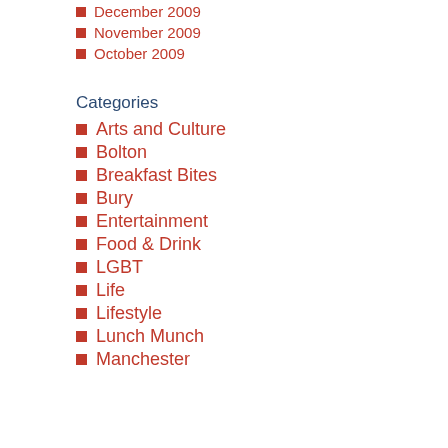December 2009
November 2009
October 2009
Categories
Arts and Culture
Bolton
Breakfast Bites
Bury
Entertainment
Food & Drink
LGBT
Life
Lifestyle
Lunch Munch
Manchester